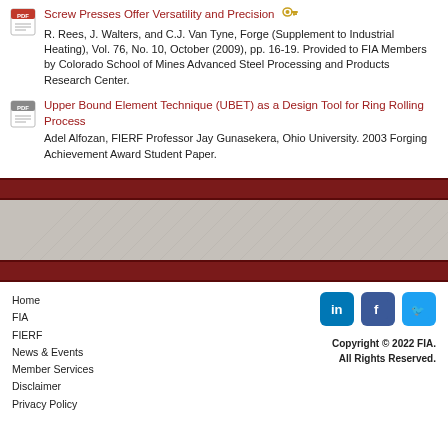Screw Presses Offer Versatility and Precision
R. Rees, J. Walters, and C.J. Van Tyne, Forge (Supplement to Industrial Heating), Vol. 76, No. 10, October (2009), pp. 16-19. Provided to FIA Members by Colorado School of Mines Advanced Steel Processing and Products Research Center.
Upper Bound Element Technique (UBET) as a Design Tool for Ring Rolling Process
Adel Alfozan, FIERF Professor Jay Gunasekera, Ohio University. 2003 Forging Achievement Award Student Paper.
Home
FIA
FIERF
News & Events
Member Services
Disclaimer
Privacy Policy
Copyright © 2022 FIA. All Rights Reserved.